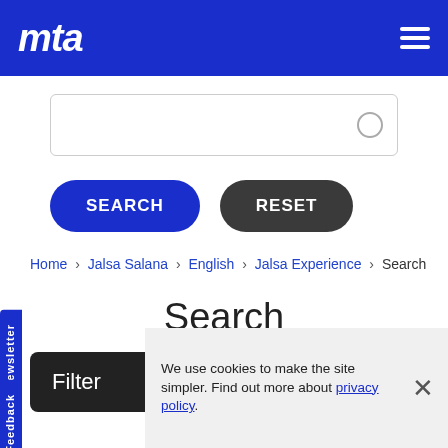mta (logo) — navigation header with hamburger menu
[Figure (screenshot): Search input text box with search circle icon on the right]
SEARCH   RESET
Home › Jalsa Salana › English › Jalsa Experience › Search
Search
Filter ▶
We use cookies to make the site simpler. Find out more about privacy policy.